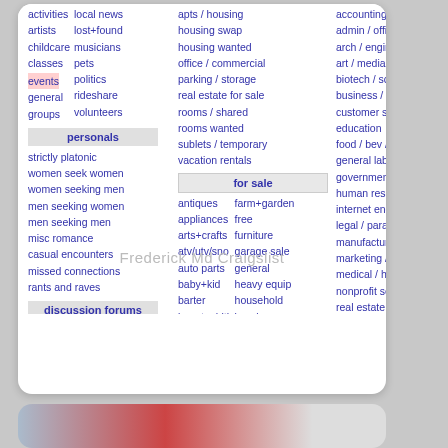activities, local news, artists, lost+found, childcare, musicians, classes, pets, events, general, groups, politics, rideshare, volunteers
personals
strictly platonic, women seek women, women seeking men, men seeking women, men seeking men, misc romance, casual encounters, missed connections, rants and raves
discussion forums
apple, help, photo, arts, history, p.o.c., atheist, housing, politics, autos, jobs, psych
apts / housing, housing swap, housing wanted, office / commercial, parking / storage, real estate for sale, rooms / shared, rooms wanted, sublets / temporary, vacation rentals
for sale
antiques, farm+garden, appliances, free, arts+crafts, furniture, atv/utv/sno, garage sale, auto parts, general, baby+kid, heavy equip, barter, household, beauty+hlth, jewelry, bikes, materials, boats, motorcycles, books, music instr
accounting+fina, admin / office, arch / engineeri, art / media / de, biotech / scienc, business / mgm, customer servic, education, food / bev / ho, general labor, government, human resource, internet enginee, legal / paralega, manufacturing, marketing / pr /, medical / health, nonprofit sector, real estate, retail / wholesa, sales / biz dev, salon / spa / fit, security, skilled trade / cr
Frederick Md Craigslist